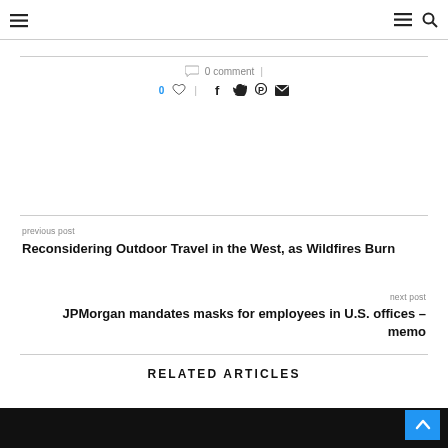Navigation header with hamburger menu and search icon
0 comment
0 ♡  |  f  🐦   pinterest  mail
previous post
Reconsidering Outdoor Travel in the West, as Wildfires Burn
next post
JPMorgan mandates masks for employees in U.S. offices – memo
RELATED ARTICLES
[Figure (photo): Dark image strip at the bottom of the page]